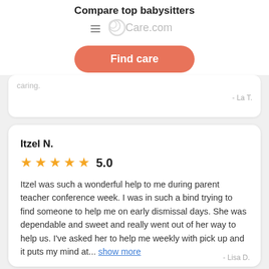Compare top babysitters
[Figure (logo): Care.com logo with hamburger menu icon]
Find care
caring.
- La T.
Itzel N.
★★★★★ 5.0
Itzel was such a wonderful help to me during parent teacher conference week. I was in such a bind trying to find someone to help me on early dismissal days. She was dependable and sweet and really went out of her way to help us. I've asked her to help me weekly with pick up and it puts my mind at... show more
- Lisa D.